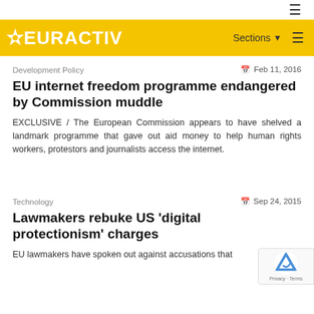EURACTIV
Development Policy
Feb 11, 2016
EU internet freedom programme endangered by Commission muddle
EXCLUSIVE / The European Commission appears to have shelved a landmark programme that gave out aid money to help human rights workers, protestors and journalists access the internet.
Technology
Sep 24, 2015
Lawmakers rebuke US 'digital protectionism' charges
EU lawmakers have spoken out against accusations that